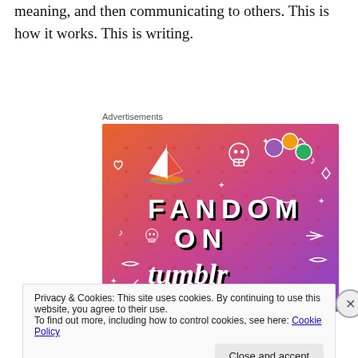meaning, and then communicating to others. This is how it works. This is writing.
Advertisements
[Figure (other): Fandom on Tumblr advertisement banner with colorful gradient background (orange to purple) featuring the text 'FANDOM ON tumblr' with doodle icons including a sailboat, skull, dice, and various symbols]
Privacy & Cookies: This site uses cookies. By continuing to use this website, you agree to their use.
To find out more, including how to control cookies, see here: Cookie Policy